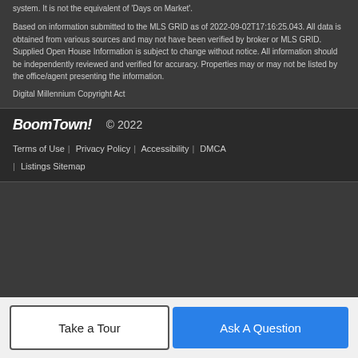system. It is not the equivalent of 'Days on Market'.
Based on information submitted to the MLS GRID as of 2022-09-02T17:16:25.043. All data is obtained from various sources and may not have been verified by broker or MLS GRID. Supplied Open House Information is subject to change without notice. All information should be independently reviewed and verified for accuracy. Properties may or may not be listed by the office/agent presenting the information.
Digital Millennium Copyright Act
BoomTown! © 2022 | Terms of Use | Privacy Policy | Accessibility | DMCA | Listings Sitemap
Take a Tour
Ask A Question